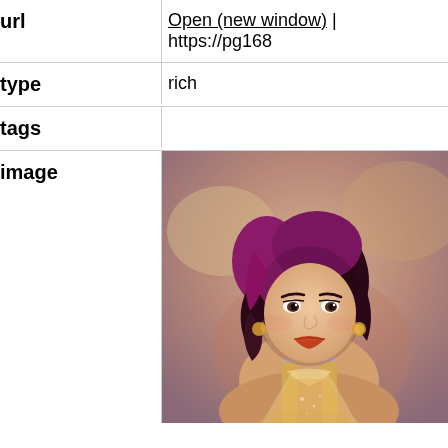| Field | Value |
| --- | --- |
| url | Open (new window) | https://pg168... |
| type | rich |
| tags |  |
| image | [illustrated character image] |